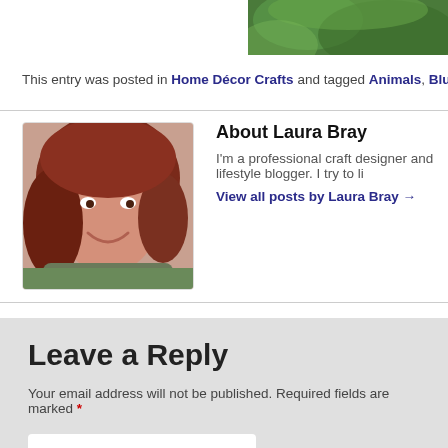[Figure (photo): Partial photo of greenery/garden in top-right corner]
This entry was posted in Home Décor Crafts and tagged Animals, Blue, Garden,
About Laura Bray
I'm a professional craft designer and lifestyle blogger. I try to li…
View all posts by Laura Bray →
Leave a Reply
Your email address will not be published. Required fields are marked *
Comment